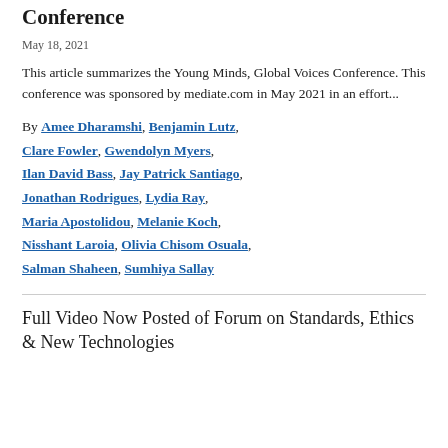Conference
May 18, 2021
This article summarizes the Young Minds, Global Voices Conference. This conference was sponsored by mediate.com in May 2021 in an effort...
By Amee Dharamshi, Benjamin Lutz, Clare Fowler, Gwendolyn Myers, Ilan David Bass, Jay Patrick Santiago, Jonathan Rodrigues, Lydia Ray, Maria Apostolidou, Melanie Koch, Nisshant Laroia, Olivia Chisom Osuala, Salman Shaheen, Sumhiya Sallay
Full Video Now Posted of Forum on Standards, Ethics & New Technologies